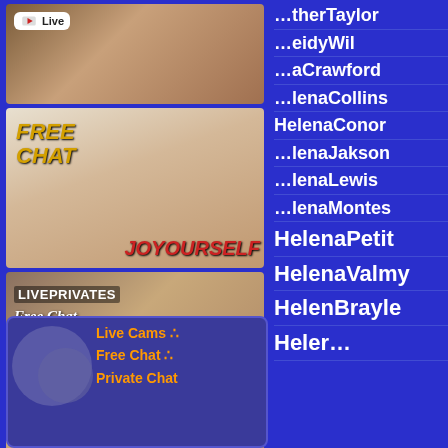[Figure (screenshot): Live cam advertisement banner with 'Live' badge]
[Figure (screenshot): FREE CHAT JOYOURSELF adult website advertisement]
[Figure (screenshot): LIVEPRIVATES Free Chat Sex Dating advertisement]
[Figure (screenshot): Live Cams Free Chat Private Chat advertisement with orange text]
...therTaylor
...eidyWil
...aCrawford
...lenaCollins
HelenaConor
...lenaJakson
...lenaLewis
...lenaMontes
HelenaPetit
HelenaValmy
HelenBrayle
Heler...